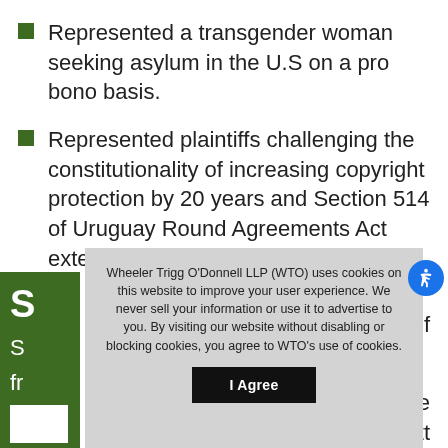Represented a transgender woman seeking asylum in the U.S on a pro bono basis.
Represented plaintiffs challenging the constitutionality of increasing copyright protection by 20 years and Section 514 of Uruguay Round Agreements Act extending copyright protection to f...
Wheeler Trigg O'Donnell LLP (WTO) uses cookies on this website to improve your user experience. We never sell your information or use it to advertise to you. By visiting our website without disabling or blocking cookies, you agree to WTO's use of cookies.
I Agree